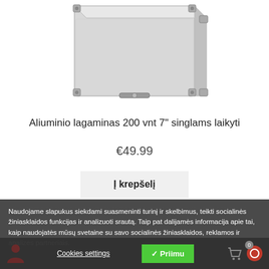[Figure (photo): Aluminum case / suitcase product photo, silver metallic, viewed from a top-front angle showing corner reinforcements and latches]
Aliuminio lagaminas 200 vnt 7" singlams laikyti
€49.99
Į krepšelį
Naudojame slapukus siekdami suasmeninti turinį ir skelbimus, teikti socialinės žiniasklaidos funkcijas ir analizuoti srautą. Taip pat dalijamės informacija apie tai, kaip naudojatės mūsų svetaine su savo socialinės žiniasklaidos, reklamos ir analizės partneriais.
Cookies settings
✓ Priimu